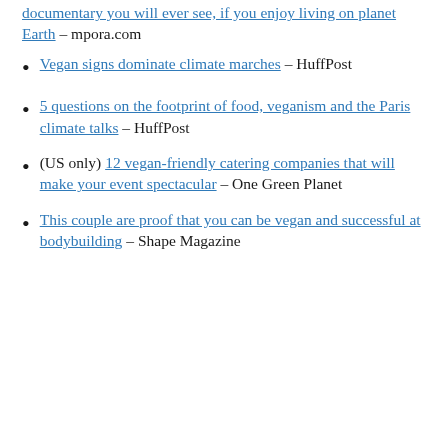documentary you will ever see, if you enjoy living on planet Earth – mpora.com
Vegan signs dominate climate marches – HuffPost
5 questions on the footprint of food, veganism and the Paris climate talks – HuffPost
(US only) 12 vegan-friendly catering companies that will make your event spectacular – One Green Planet
This couple are proof that you can be vegan and successful at bodybuilding – Shape Magazine